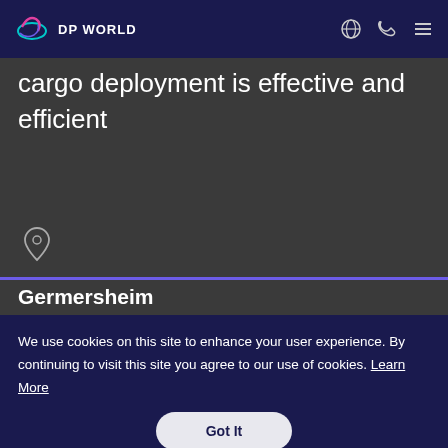DP WORLD
cargo deployment is effective and efficient
Germersheim
We use cookies on this site to enhance your user experience. By continuing to visit this site you agree to our use of cookies. Learn More
Got It